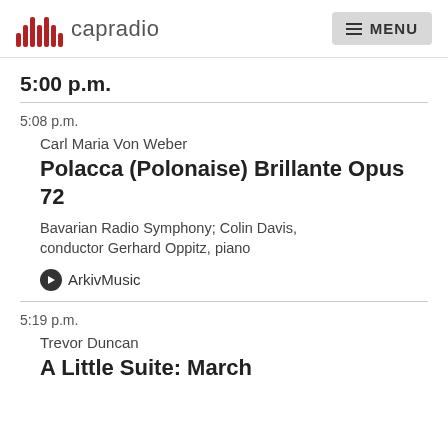capradio  MENU
5:00 p.m.
5:08 p.m.
Carl Maria Von Weber
Polacca (Polonaise) Brillante Opus 72
Bavarian Radio Symphony; Colin Davis, conductor Gerhard Oppitz, piano
ArkivMusic
5:19 p.m.
Trevor Duncan
A Little Suite: March